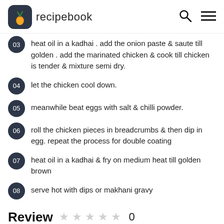recipebook
03  heat oil in a kadhai . add the onion paste & saute till golden . add the marinated chicken & cook till chicken is tender & mixture semi dry.
04  let the chicken cool down.
05  meanwhile beat eggs with salt & chilli powder.
06  roll the chicken pieces in breadcrumbs & then dip in egg. repeat the process for double coating
07  heat oil in a kadhai & fry on medium heat till golden brown
08  serve hot with dips or makhani gravy
Review  0
Please Login to comment